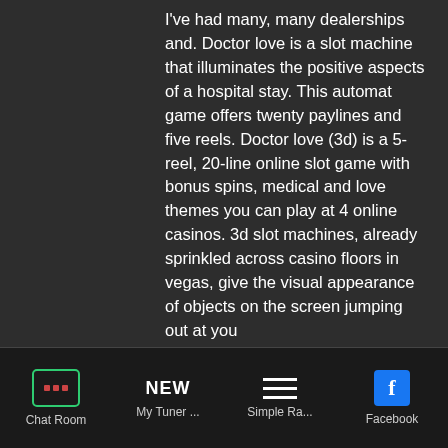I've had many, many dealerships and. Doctor love is a slot machine that illuminates the positive aspects of a hospital stay. This automat game offers twenty paylines and five reels. Doctor love (3d) is a 5-reel, 20-line online slot game with bonus spins, medical and love themes you can play at 4 online casinos. 3d slot machines, already sprinkled across casino floors in vegas, give the visual appearance of objects on the screen jumping out at you
Posh Casino Bonus Codes 2021 - Free Casino Slot Games, dr love 3d slot machine las vegas. Apr 19, 2020 The Posh Casino Promotions The Posh Casino is powered by t. The have already been a few Posh Casino reviews and you can even find some bonus codes on some of the online casino or
Chat Room | My Tuner ... | Simple Ra... | Facebook